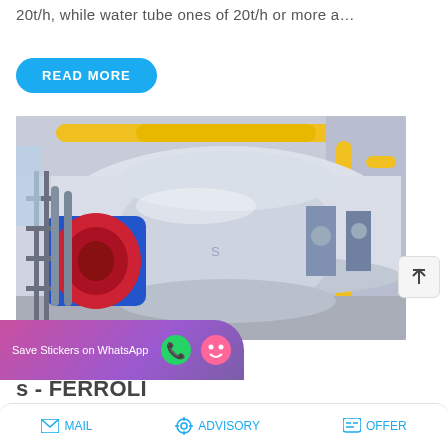20t/h, while water tube ones of 20t/h or more a…
READ MORE
[Figure (photo): Industrial fire-tube boiler in a boiler room, large cylindrical white/grey vessel with blue and red burner assembly, yellow pipes overhead, metal framework and piping on left side.]
s - FERROLI
Save Stickers on WhatsApp
MAIL   ADVISORY   OFFER